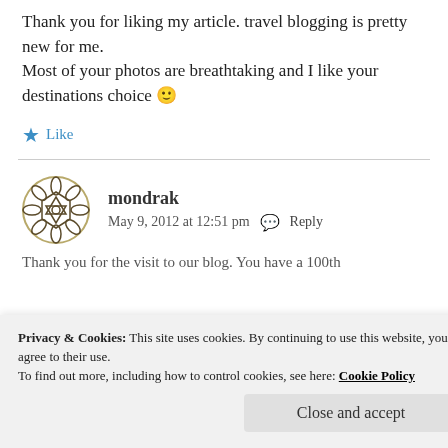Thank you for liking my article. travel blogging is pretty new for me.
Most of your photos are breathtaking and I like your destinations choice 🙂
★ Like
mondrak
May 9, 2012 at 12:51 pm  Reply
Thank you for the visit to our blog. You have a 100th...
Privacy & Cookies: This site uses cookies. By continuing to use this website, you agree to their use.
To find out more, including how to control cookies, see here: Cookie Policy
Close and accept